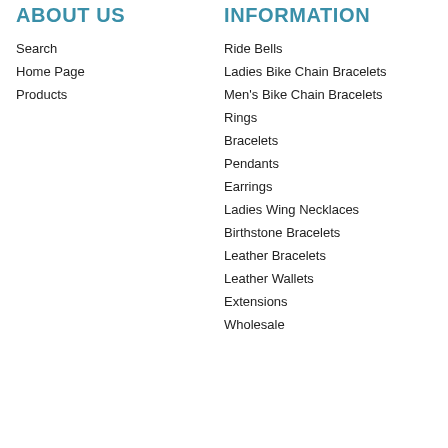ABOUT US
Search
Home Page
Products
INFORMATION
Ride Bells
Ladies Bike Chain Bracelets
Men's Bike Chain Bracelets
Rings
Bracelets
Pendants
Earrings
Ladies Wing Necklaces
Birthstone Bracelets
Leather Bracelets
Leather Wallets
Extensions
Wholesale